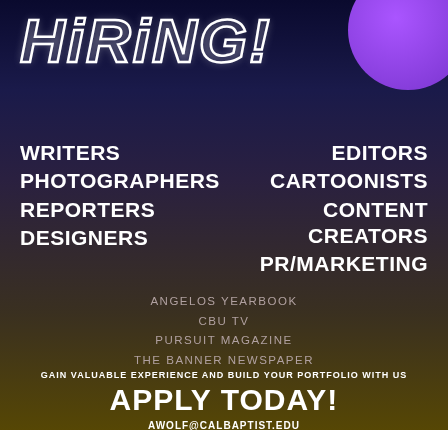HIRING!
WRITERS
PHOTOGRAPHERS
REPORTERS
DESIGNERS
EDITORS
CARTOONISTS
CONTENT CREATORS
PR/MARKETING
ANGELOS YEARBOOK
CBU TV
PURSUIT MAGAZINE
THE BANNER NEWSPAPER
GAIN VALUABLE EXPERIENCE AND BUILD YOUR PORTFOLIO WITH US
APPLY TODAY!
AWOLF@CALBAPTIST.EDU